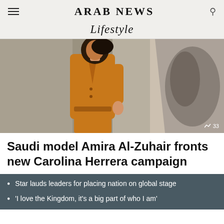ARAB NEWS
Lifestyle
[Figure (photo): A model wearing a yellow/orange suit jacket and matching skirt, photographed from the side in a minimalist studio setting with soft shadows]
Saudi model Amira Al-Zuhair fronts new Carolina Herrera campaign
Star lauds leaders for placing nation on global stage
'I love the Kingdom, it's a big part of who I am'